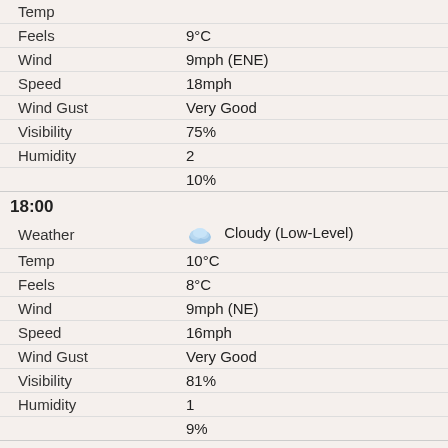| Field | Value |
| --- | --- |
| Temp |  |
| Feels | 9°C |
| Wind | 9mph (ENE) |
| Speed | 18mph |
| Wind Gust | Very Good |
| Visibility | 75% |
| Humidity | 2 |
|  | 10% |
18:00
| Field | Value |
| --- | --- |
| Weather | Cloudy (Low-Level) |
| Temp | 10°C |
| Feels | 8°C |
| Wind | 9mph (NE) |
| Speed | 16mph |
| Wind Gust | Very Good |
| Visibility | 81% |
| Humidity | 1 |
|  | 9% |
21:00
| Field | Value |
| --- | --- |
| Weather | Cloudy (Medium-Level) |
| Temp | 7°C |
| Feels | 5°C |
| Wind | 7mph (NE) |
| Speed | 11mph |
| Wind Gust | Very Good |